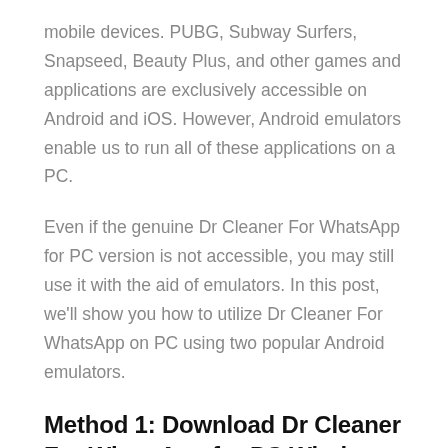mobile devices. PUBG, Subway Surfers, Snapseed, Beauty Plus, and other games and applications are exclusively accessible on Android and iOS. However, Android emulators enable us to run all of these applications on a PC.
Even if the genuine Dr Cleaner For WhatsApp for PC version is not accessible, you may still use it with the aid of emulators. In this post, we'll show you how to utilize Dr Cleaner For WhatsApp on PC using two popular Android emulators.
Method 1: Download Dr Cleaner For WhatsApp for PC Windows 10/8/7 –
Bluestacks is a popular Android emulator that allows you to run Android apps on your Windows PC. The Bluestacks